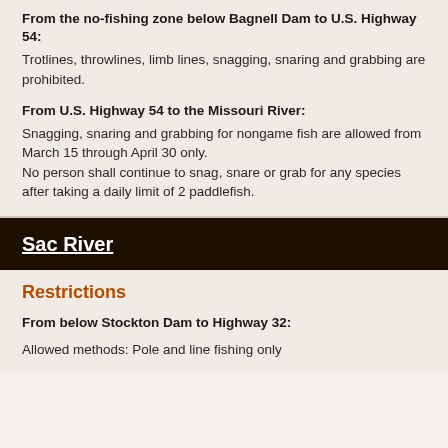From the no-fishing zone below Bagnell Dam to U.S. Highway 54:
Trotlines, throwlines, limb lines, snagging, snaring and grabbing are prohibited.
From U.S. Highway 54 to the Missouri River:
Snagging, snaring and grabbing for nongame fish are allowed from March 15 through April 30 only. No person shall continue to snag, snare or grab for any species after taking a daily limit of 2 paddlefish.
Sac River
Restrictions
From below Stockton Dam to Highway 32:
Allowed methods: Pole and line fishing only